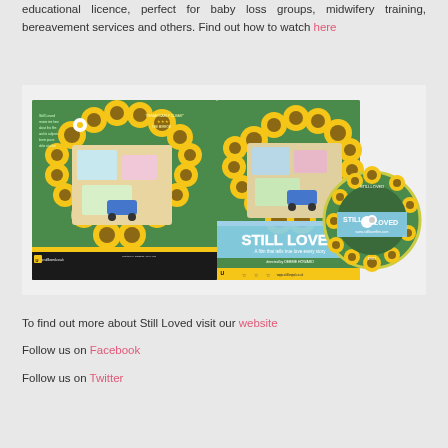educational licence, perfect for baby loss groups, midwifery training, bereavement services and others. Find out how to watch here
[Figure (photo): DVD case and disc for 'Still Loved' documentary film, featuring a heart made of sunflowers on a green lawn background. The DVD case shows front and back covers, and the disc is shown separately to the right.]
To find out more about Still Loved visit our website
Follow us on Facebook
Follow us on Twitter